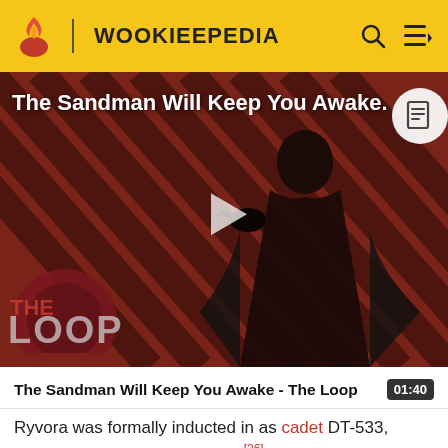WOOKIEEPEDIA
[Figure (screenshot): Video thumbnail for 'The Sandman Will Keep You Awake - The Loop' showing a dark-cloaked figure against a red and black diagonal striped background with THE LOOP logo in the lower left and a play button in the center.]
The Sandman Will Keep You Awake - The Loop 01:40
Ryvora was formally inducted in as cadet DT-533, before departing on its search.[26]